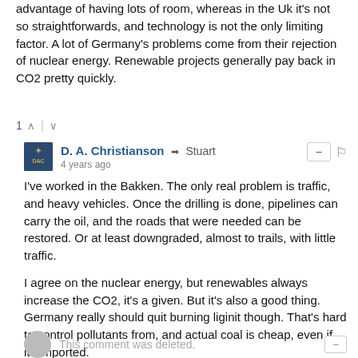advantage of having lots of room, whereas in the Uk it's not so straightforwards, and technology is not the only limiting factor. A lot of Germany's problems come from their rejection of nuclear energy. Renewable projects generally pay back in CO2 pretty quickly.
1 ↑ | ↓
D. A. Christianson → Stuart
4 years ago
I've worked in the Bakken. The only real problem is traffic, and heavy vehicles. Once the drilling is done, pipelines can carry the oil, and the roads that were needed can be restored. Or at least downgraded, almost to trails, with little traffic.

I agree on the nuclear energy, but renewables always increase the CO2, it's a given. But it's also a good thing. Germany really should quit burning liginit though. That's hard to control pollutants from, and actual coal is cheap, even if its imported.
↑ | ↓
This comment was deleted.